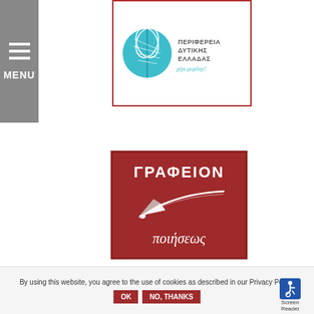[Figure (logo): Hamburger menu icon with three horizontal white lines and MENU text on grey background]
[Figure (logo): Perifereia Dytikis Elladas logo: teal circular emblem with wheat/olive design, Greek text ΠΕΡΙΦΕΡΕΙΑ ΔΥΤΙΚΗΣ ΕΛΛΑΔΑΣ and cursive subtitle, inside red-bordered white box]
[Figure (logo): Grafeioin Poiiseos logo: dark red square with white text ΓΡΑΦΕΙΟΝ at top, pen nib illustration in center, italic Greek text ποιήσεως at bottom]
By using this website, you agree to the use of cookies as described in our Privacy Policy.
OK
NO, THANKS
[Figure (illustration): Accessibility icon (wheelchair symbol) with Screen Reader text label]